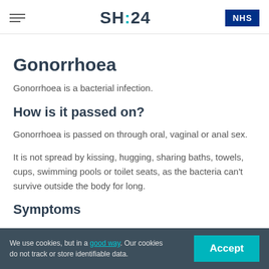SH:24 | NHS
Gonorrhoea
Gonorrhoea is a bacterial infection.
How is it passed on?
Gonorrhoea is passed on through oral, vaginal or anal sex.
It is not spread by kissing, hugging, sharing baths, towels, cups, swimming pools or toilet seats, as the bacteria can't survive outside the body for long.
Symptoms
We use cookies, but in a good way. Our cookies do not track or store identifiable data. Accept